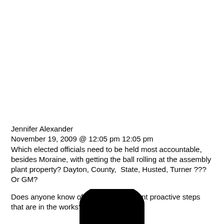Jennifer Alexander
November 19, 2009 @ 12:05 pm 12:05 pm
Which elected officials need to be held most accountable, besides Moraine, with getting the ball rolling at the assembly plant property? Dayton, County,  State, Husted, Turner ??? Or GM?
Does anyone know of any past or current proactive steps that are in the works?
[Figure (other): Partially visible black rounded shape at the bottom center of the page]